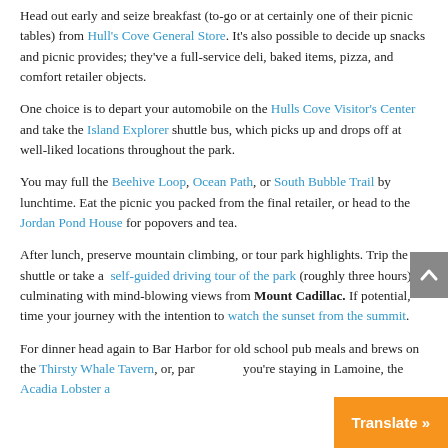Head out early and seize breakfast (to-go or at certainly one of their picnic tables) from Hull's Cove General Store. It's also possible to decide up snacks and picnic provides; they've a full-service deli, baked items, pizza, and comfort retailer objects.
One choice is to depart your automobile on the Hulls Cove Visitor's Center and take the Island Explorer shuttle bus, which picks up and drops off at well-liked locations throughout the park.
You may full the Beehive Loop, Ocean Path, or South Bubble Trail by lunchtime. Eat the picnic you packed from the final retailer, or head to the Jordan Pond House for popovers and tea.
After lunch, preserve mountain climbing, or tour park highlights. Trip the shuttle or take a self-guided driving tour of the park (roughly three hours) culminating with mind-blowing views from Mount Cadillac. If potential, time your journey with the intention to watch the sunset from the summit.
For dinner head again to Bar Harbor for old school pub meals and brews on the Thirsty Whale Tavern, or, par… you're staying in Lamoine, the Acadia Lobster a…